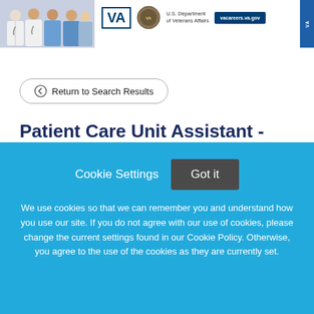[Figure (photo): VA careers webpage header showing healthcare workers in white coats and scrubs alongside the VA logo, U.S. Department of Veterans Affairs seal, vacareers.va.gov button, and a blue VA sidebar element.]
Return to Search Results
Patient Care Unit Assistant - Cardiothoracic Intensive Care Unit -
Cookie Settings  Got it
We use cookies so that we can remember you and understand how you use our site. If you do not agree with our use of cookies, please change the current settings found in our Cookie Policy. Otherwise, you agree to the use of the cookies as they are currently set.